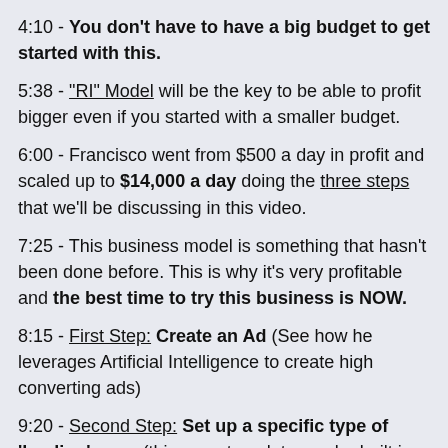4:10 - You don't have to have a big budget to get started with this.
5:38 - "RI" Model will be the key to be able to profit bigger even if you started with a smaller budget.
6:00 - Francisco went from $500 a day in profit and scaled up to $14,000 a day doing the three steps that we'll be discussing in this video.
7:25 - This business model is something that hasn't been done before. This is why it's very profitable and the best time to try this business is NOW.
8:15 - First Step: Create an Ad (See how he leverages Artificial Intelligence to create high converting ads)
9:20 - Second Step: Set up a specific type of 'landing' page (this page template can be built in minutes and maximizes buyer clicks).
10:00 - Third Step: Drive Traffic to a High